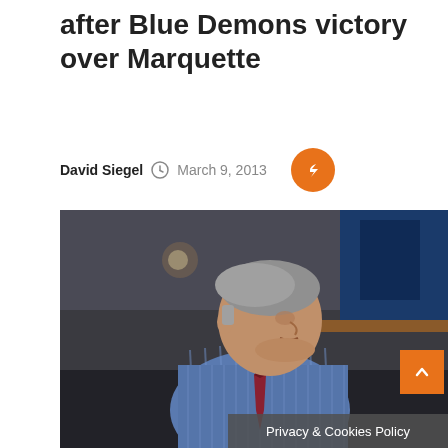after Blue Demons victory over Marquette
David Siegel  March 9, 2013
[Figure (photo): Man in blue striped shirt and dark red tie, appears to be a basketball coach, photographed on the sideline of a basketball court with blue and orange background elements]
Privacy & Cookies Policy